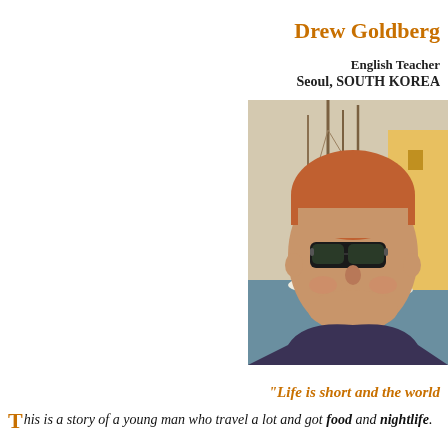Drew Goldberg
English Teacher
Seoul, SOUTH KOREA
[Figure (photo): Young man with short reddish hair wearing sunglasses and a dark shirt, smiling, photographed outdoors near sailboats and colorful buildings in a harbor setting.]
"Life is short and the world
This is a story of a young man who travel a lot and got food and nightlife.